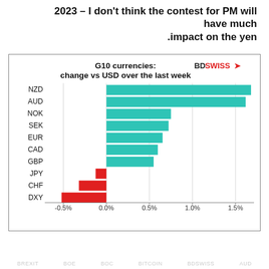2023 – I don't think the contest for PM will have much impact on the yen.
[Figure (bar-chart): G10 currencies: change vs USD over the last week]
BREXIT  BOE  BOC  BITCOIN  BDSWISS  AUD